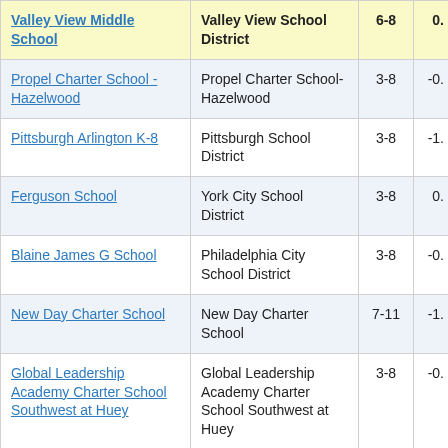| School | District | Grades | Value |
| --- | --- | --- | --- |
| Valley View Middle School | Valley View School District | 6-8 | 0. |
| Propel Charter School - Hazelwood | Propel Charter School-Hazelwood | 3-8 | -0. |
| Pittsburgh Arlington K-8 | Pittsburgh School District | 3-8 | -1. |
| Ferguson School | York City School District | 3-8 | 0. |
| Blaine James G School | Philadelphia City School District | 3-8 | -0. |
| New Day Charter School | New Day Charter School | 7-11 | -1. |
| Global Leadership Academy Charter School Southwest at Huey | Global Leadership Academy Charter School Southwest at Huey | 3-8 | -0. |